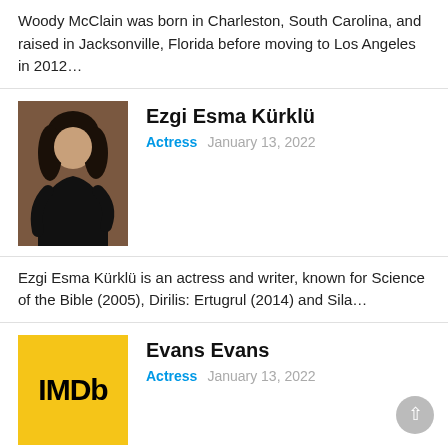Woody McClain was born in Charleston, South Carolina, and raised in Jacksonville, Florida before moving to Los Angeles in 2012…
[Figure (photo): Photo of Ezgi Esma Kürklü, a woman in a black outfit posing against a dark background]
Ezgi Esma Kürklü
Actress   January 13, 2022
Ezgi Esma Kürklü is an actress and writer, known for Science of the Bible (2005), Dirilis: Ertugrul (2014) and Sila…
[Figure (logo): IMDb logo — gold/yellow background with IMDb text in black bold]
Evans Evans
Actress   January 13, 2022